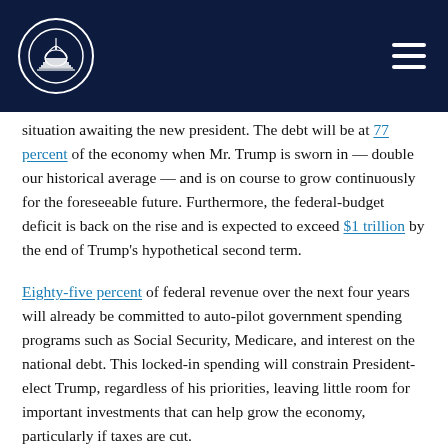[Figure (logo): Capitol building logo in white circle on dark navy header with hamburger menu icon on the right]
situation awaiting the new president. The debt will be at 77 percent of the economy when Mr. Trump is sworn in — double our historical average — and is on course to grow continuously for the foreseeable future. Furthermore, the federal-budget deficit is back on the rise and is expected to exceed $1 trillion by the end of Trump's hypothetical second term.
Eighty-five percent of federal revenue over the next four years will already be committed to auto-pilot government spending programs such as Social Security, Medicare, and interest on the national debt. This locked-in spending will constrain President-elect Trump, regardless of his priorities, leaving little room for important investments that can help grow the economy, particularly if taxes are cut.
No economic plan will be successful without getting the nation's